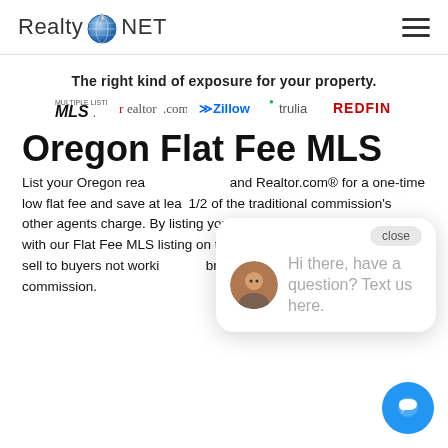[Figure (logo): RealtyNET logo with globe icon]
The right kind of exposure for your property.
[Figure (logo): MLS, realtor.com, Zillow, trulia, REDFIN logos row]
Oregon Flat Fee MLS
List your Oregon real estate on the MLS, Zillow, and Realtor.com® for a one-time low flat fee and save at least 1/2 of the traditional commission's other agents charge. By listing your home as a "for sale by owner" with our Flat Fee MLS listing on the MLS, you'll retain your right to sell to buyers not working with brokers, and pay absolutely NO commission.
[Figure (screenshot): Chat popup: Hi there, have a question? Text us here. with avatar and close button]